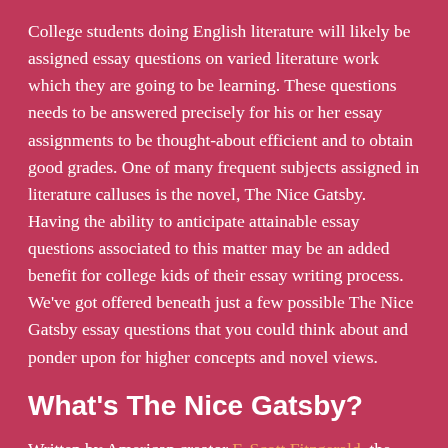College students doing English literature will likely be assigned essay questions on varied literature work which they are going to be learning. These questions needs to be answered precisely for his or her essay assignments to be thought-about efficient and to obtain good grades. One of many frequent subjects assigned in literature calluses is the novel, The Nice Gatsby. Having the ability to anticipate attainable essay questions associated to this matter may be an added benefit for college kids of their essay writing process. We've got offered beneath just a few possible The Nice Gatsby essay questions that you could think about and ponder upon for higher concepts and novel views.
What's The Nice Gatsby?
Written by American creator F. Scott Fitzgerald, the novel, is concerning the chaos left behind in World Battle I. The novel discusses the prosperity of America